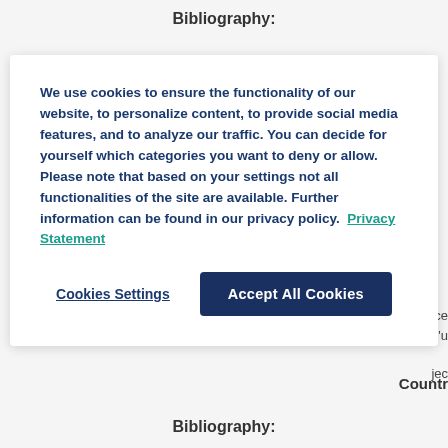Bibliography:
We use cookies to ensure the functionality of our website, to personalize content, to provide social media features, and to analyze our traffic. You can decide for yourself which categories you want to deny or allow. Please note that based on your settings not all functionalities of the site are available. Further information can be found in our privacy policy.  Privacy Statement
Cookies Settings
Accept All Cookies
ce
'u
jecl
Countr
Bibliography: